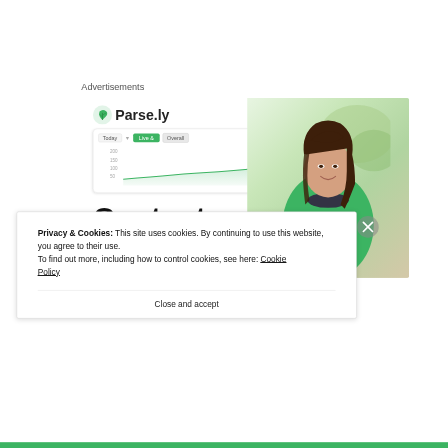Advertisements
[Figure (screenshot): Parse.ly Content Analytics advertisement banner showing the Parse.ly logo, a dashboard screenshot with a green area chart, bold text reading 'Content Analytics', and a photo of a smiling woman in a green sweater.]
Privacy & Cookies: This site uses cookies. By continuing to use this website, you agree to their use.
To find out more, including how to control cookies, see here: Cookie Policy
Close and accept